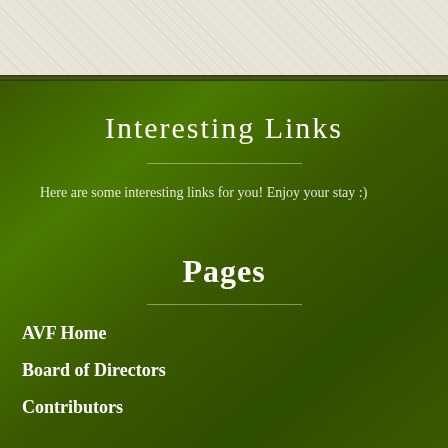[Figure (other): Beige/cream textured banner at top of page]
Interesting Links
Here are some interesting links for you! Enjoy your stay :)
Pages
AVF Home
Board of Directors
Contributors